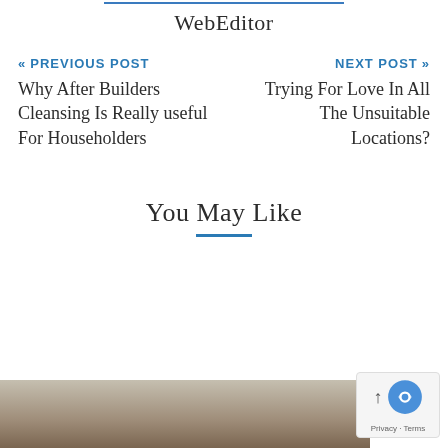WebEditor
« PREVIOUS POST
Why After Builders Cleansing Is Really useful For Householders
NEXT POST »
Trying For Love In All The Unsuitable Locations?
You May Like
[Figure (photo): Bottom strip showing a partial interior room photo with dark wooden furniture]